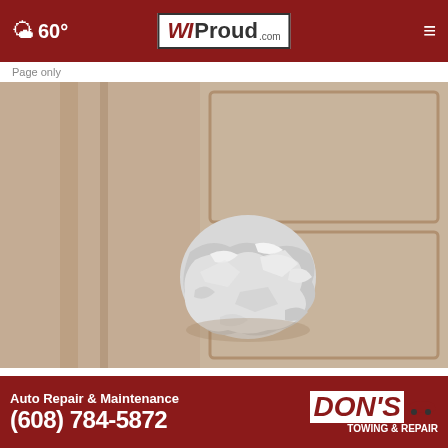WI Proud .com — 60° weather — navigation menu
Page only
[Figure (photo): Close-up photograph of a door knob wrapped in crumpled aluminum foil on a brown interior door]
Wrap Foil Around Your Doorknob at Night If Alone, Here's Why
So go...
[Figure (other): Advertisement banner: Auto Repair & Maintenance, (608) 784-5872, DON'S Towing & Repair]